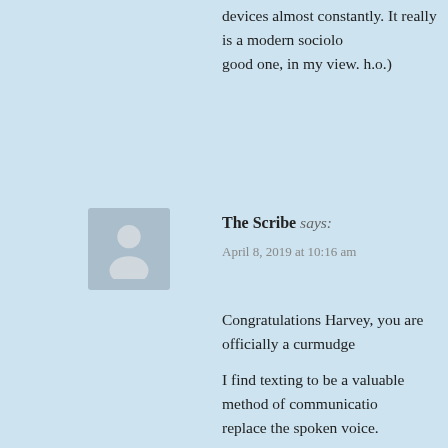devices almost constantly. It really is a modern sociolo… good one, in my view. h.o.)
[Figure (illustration): Generic user avatar: grey silhouette of a person on a grey-blue background]
The Scribe says:
April 8, 2019 at 10:16 am
Congratulations Harvey, you are officially a curmudge…
I find texting to be a valuable method of communicatio… replace the spoken voice.
Unfortunately, for the current young generation, speaki… texts, Instagrams, Snapchats, etc. The only time kids w… streams – where there are multiple people all online tog…
While I am an old fart too, retirement beckons next fall… will likely push off retirement a few more years). She i… simply kept her off social media. That in turn has redu…